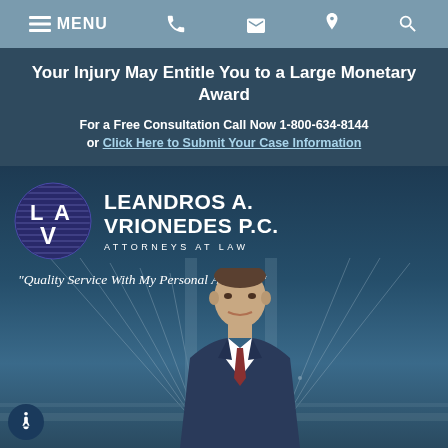MENU [navigation icons: phone, email, location, search]
Your Injury May Entitle You to a Large Monetary Award
For a Free Consultation Call Now 1-800-634-8144 or Click Here to Submit Your Case Information
[Figure (logo): Leandros A. Vrionedes P.C. Attorneys at Law logo with LAV monogram in circular emblem, followed by photo of attorney in suit with bridge background and tagline 'Quality Service With My Personal Attention']